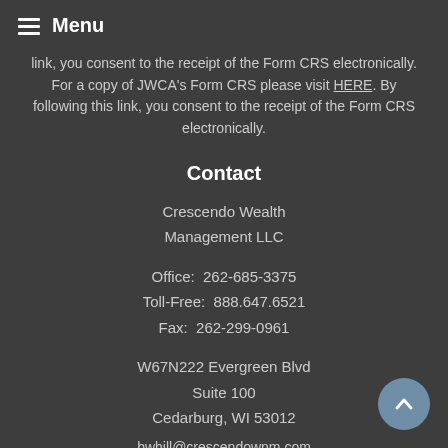Menu
link, you consent to the receipt of the Form CRS electronically. For a copy of JWCA's Form CRS please visit HERE. By following this link, you consent to the receipt of the Form CRS electronically.
Contact
Crescendo Wealth Management LLC
Office:  262-685-3375
Toll-Free:  888.647.6521
Fax:  262-299-0961
W67N222 Evergreen Blvd
Suite 100
Cedarburg, WI 53012
bwhill@crescendownm.com